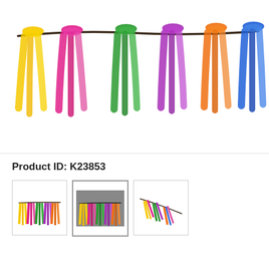[Figure (illustration): Colorful watercolor birds (yellow, pink/magenta, green, purple/pink, orange, blue) perched on a wire/branch at the top, viewed from behind, with colorful tail feathers visible against a white background.]
Product ID: K23853
[Figure (photo): Three thumbnail images of colorful bird string lights: first showing birds on white background, second on dark background (selected/highlighted), third showing birds at an angle.]
Delivery estimate